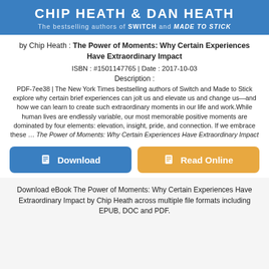CHIP HEATH & DAN HEATH
The bestselling authors of SWITCH and MADE TO STICK
by Chip Heath : The Power of Moments: Why Certain Experiences Have Extraordinary Impact
ISBN : #1501147765 | Date : 2017-10-03
Description :
PDF-7ee38 | The New York Times bestselling authors of Switch and Made to Stick explore why certain brief experiences can jolt us and elevate us and change us—and how we can learn to create such extraordinary moments in our life and work.While human lives are endlessly variable, our most memorable positive moments are dominated by four elements: elevation, insight, pride, and connection. If we embrace these … The Power of Moments: Why Certain Experiences Have Extraordinary Impact
[Figure (other): Download and Read Online buttons]
Download eBook The Power of Moments: Why Certain Experiences Have Extraordinary Impact by Chip Heath across multiple file formats including EPUB, DOC and PDF.